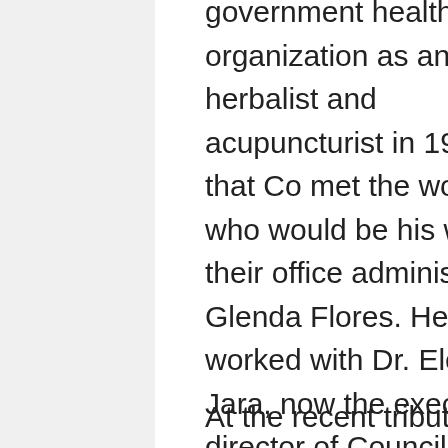government health organization as an herbalist and acupuncturist in 1987 that Co met the woman who would be his wife, their office administrator, Glenda Flores. He also worked with Dr. Eleanor Jara, now the executive director of Council for Health and Democracy. Dr Jara stood as one of the sponsors in the couple's wedding in 1990.
At the recent tribute for Co by